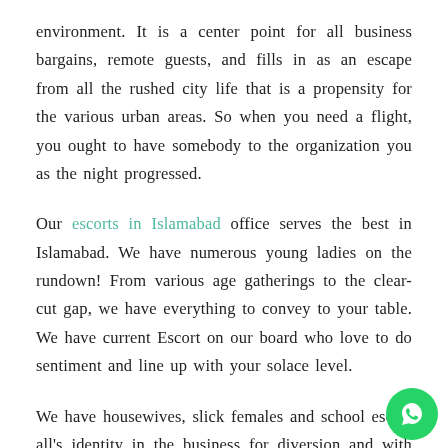environment. It is a center point for all business bargains, remote guests, and fills in as an escape from all the rushed city life that is a propensity for the various urban areas. So when you need a flight, you ought to have somebody to the organization you as the night progressed.
Our escorts in Islamabad office serves the best in Islamabad. We have numerous young ladies on the rundown! From various age gatherings to the clear-cut gap, we have everything to convey to your table. We have current Escort on our board who love to do sentiment and line up with your solace level.
We have housewives, slick females and school escort all's identity in the business for diversion and with their energy. They have a place with great foundations th...